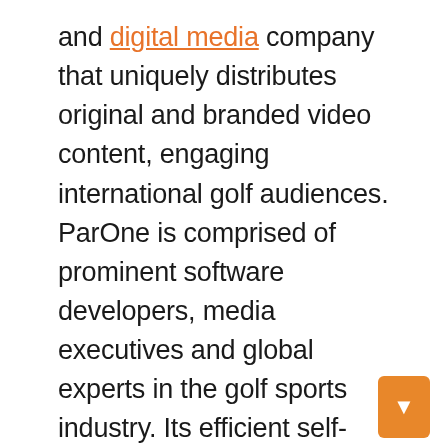and digital media company that uniquely distributes original and branded video content, engaging international golf audiences. ParOne is comprised of prominent software developers, media executives and global experts in the golf sports industry. Its efficient self-service portal automates the distribution process for content producers – including large media companies – to showcase their videos seen by active and transactional golfers on the popular golf apps and websites they consume. . The company is targeting syndication of live broadcasts of professional golf tournament broadcasts to users of the global ParOne network which is expected to eclipse 30 million golfers in 2022. Pioneer among the investment community in sports